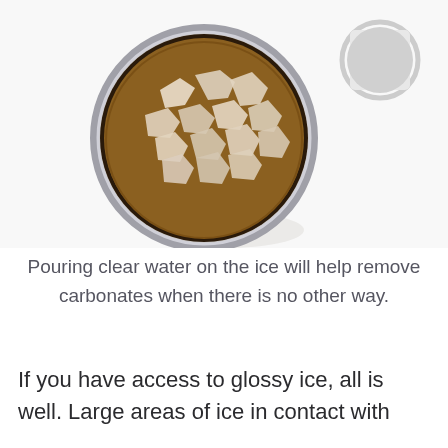[Figure (photo): Top-down view of a glass or metal cup filled with ice cubes and a dark carbonated beverage, viewed from above on a white background with a soft shadow. Another cup or object is partially visible to the right.]
Pouring clear water on the ice will help remove carbonates when there is no other way.
If you have access to glossy ice, all is well. Large areas of ice in contact with